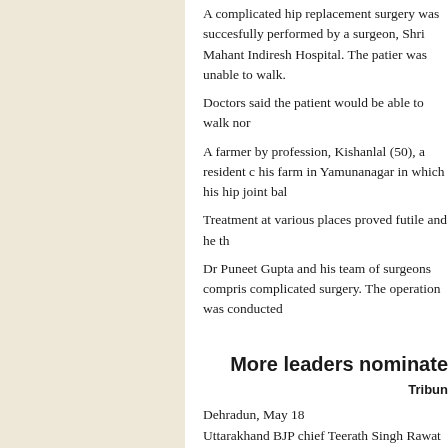A complicated hip replacement surgery was successfully performed by a surgeon, Shri Mahant Indiresh Hospital. The patient was unable to walk.
Doctors said the patient would be able to walk normally.
A farmer by profession, Kishanlal (50), a resident of his farm in Yamunanagar in which his hip joint ball...
Treatment at various places proved futile and he th...
Dr Puneet Gupta and his team of surgeons comprising... complicated surgery. The operation was conducted...
More leaders nominate
Tribune
Dehradun, May 18
Uttarakhand BJP chief Teerath Singh Rawat has nominated more members to the state committee.
Mohan Singh Gaunwasi, Manujender Shah, Tarun... Chamoli and newly-elected mayors Jogainder Singh... included in the list of permanent invitees.